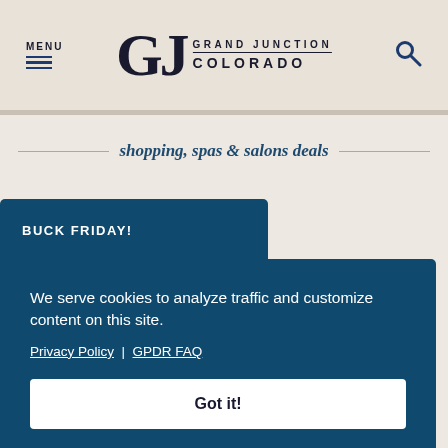MENU | Grand Junction Colorado
shopping, spas & salons deals
BUCK FRIDAY!
We serve cookies to analyze traffic and customize content on this site. Privacy Policy | GPDR FAQ
Got it!